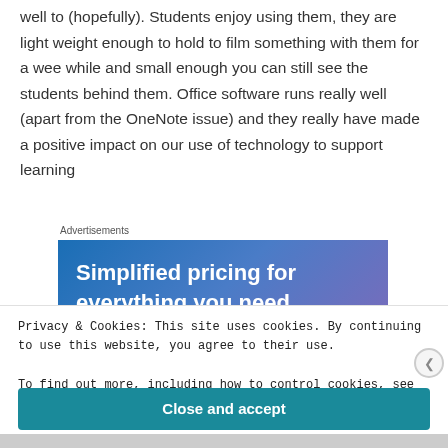well to (hopefully). Students enjoy using them, they are light weight enough to hold to film something with them for a wee while and small enough you can still see the students behind them. Office software runs really well (apart from the OneNote issue) and they really have made a positive impact on our use of technology to support learning
Advertisements
[Figure (other): Advertisement banner with blue-purple gradient background reading 'Simplified pricing for everything you need']
Privacy & Cookies: This site uses cookies. By continuing to use this website, you agree to their use.
To find out more, including how to control cookies, see here: Cookie Policy
Close and accept